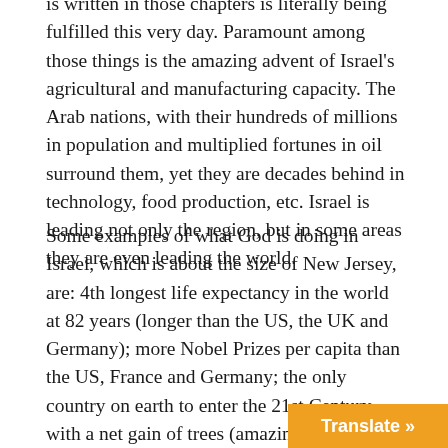is written in those chapters is literally being fulfilled this very day. Paramount among those things is the amazing advent of Israel's agricultural and manufacturing capacity. The Arab nations, with their hundreds of millions in population and multiplied fortunes in oil surround them, yet they are decades behind in technology, food production, etc. Israel is leading not only the region, but in some areas they are even leading the world.
Some examples of what God is doing in Israel, which is about the size of New Jersey, are: 4th longest life expectancy in the world at 82 years (longer than the US, the UK and Germany); more Nobel Prizes per capita than the US, France and Germany; the only country on earth to enter the 21st Century with a net gain of trees (amazing in that it is 60% desert); 93% of Israeli homes use solar energy; scientific research institutions are ranked 3rd in the world; produces more scientific papers per capita than any other nation by a large margin; leads the world in patents for medical equipment; highest standard of living in the Middle East and third highest in Asia, and the list coul...